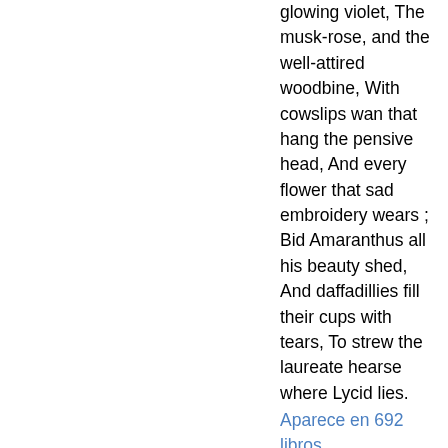glowing violet, The musk-rose, and the well-attired woodbine, With cowslips wan that hang the pensive head, And every flower that sad embroidery wears ; Bid Amaranthus all his beauty shed, And daffadillies fill their cups with tears, To strew the laureate hearse where Lycid lies.
Aparece en 692 libros desde 1788-2008
Página 178 - Rain influence, and judge the prize Of wit or arms, while both contend To win her grace, whom all commend. There let Hymen oft appear In